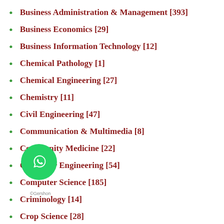Business Administration & Management [393]
Business Economics [29]
Business Information Technology [12]
Chemical Pathology [1]
Chemical Engineering [27]
Chemistry [11]
Civil Engineering [47]
Communication & Multimedia [8]
Community Medicine [22]
Computer Engineering [54]
Computer Science [185]
Criminology [14]
Crop Science [28]
Education [210]
Educational Foundation [146]